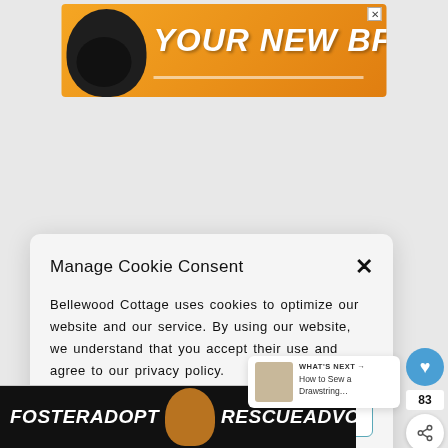[Figure (illustration): Orange advertisement banner with dog illustration and text 'YOUR NEW BFF']
Manage Cookie Consent
Bellewood Cottage uses cookies to optimize our website and our service. By using our website, we understand that you accept their use and agree to our privacy policy.
ACCEPT
Privacy Policy   Privacy Policy
[Figure (illustration): Bottom advertisement banner with dark background, dog photo, and text 'FOSTER ADOPT RESCUE ADVOCATE']